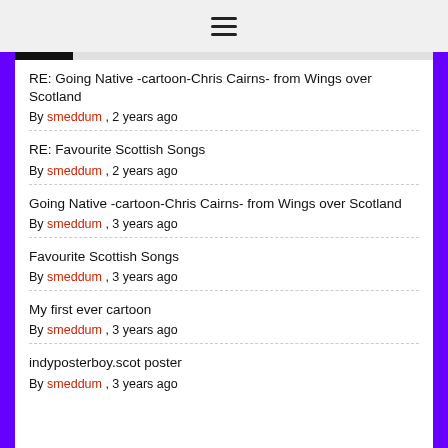≡
RE: Going Native -cartoon-Chris Cairns- from Wings over Scotland
By smeddum , 2 years ago
RE: Favourite Scottish Songs
By smeddum , 2 years ago
Going Native -cartoon-Chris Cairns- from Wings over Scotland
By smeddum , 3 years ago
Favourite Scottish Songs
By smeddum , 3 years ago
My first ever cartoon
By smeddum , 3 years ago
indyposterboy.scot poster
By smeddum , 3 years ago